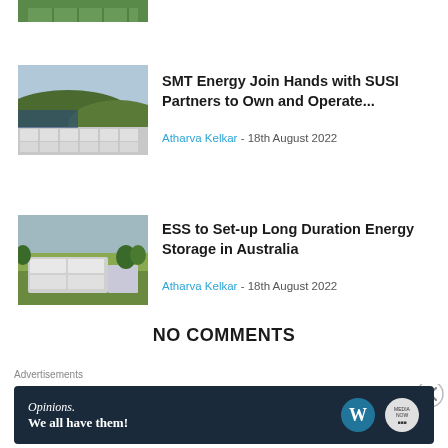[Figure (photo): Partial top image of solar panels or energy facility, cropped at top of page]
[Figure (photo): Aerial view of large battery energy storage facility with rows of white containers next to a solar farm, surrounded by trees]
SMT Energy Join Hands with SUSI Partners to Own and Operate...
Atharva Kelkar - 18th August 2022
[Figure (photo): Aerial view of energy storage facility with white containers on green agricultural land]
ESS to Set-up Long Duration Energy Storage in Australia
Atharva Kelkar - 18th August 2022
NO COMMENTS
Leave a Reply
Advertisements
[Figure (screenshot): WordPress advertisement banner: 'Opinions. We all have them!' with WordPress and another logo on dark navy background]